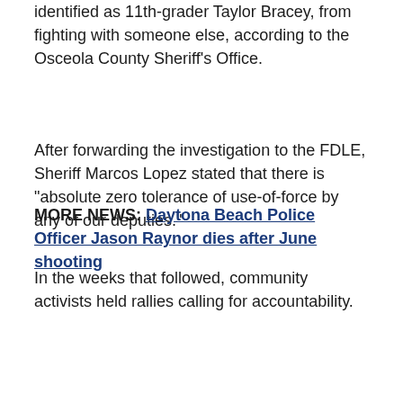identified as 11th-grader Taylor Bracey, from fighting with someone else, according to the Osceola County Sheriff's Office.
After forwarding the investigation to the FDLE, Sheriff Marcos Lopez stated that there is "absolute zero tolerance of use-of-force by any of our deputies."
MORE NEWS: Daytona Beach Police Officer Jason Raynor dies after June shooting
In the weeks that followed, community activists held rallies calling for accountability.
[Figure (screenshot): Video thumbnail showing two people in green/olive uniforms, with white text overlay reading 'Osceola Sheriff responds to no charges in SRO incident' and a share icon in the top right corner.]